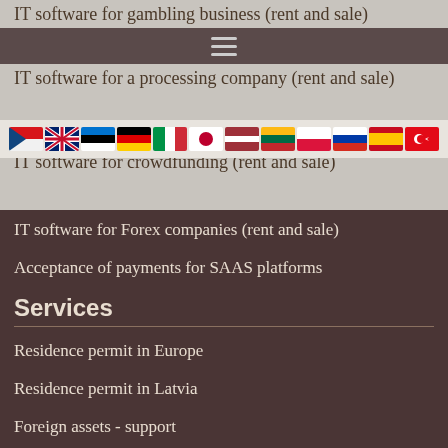IT software for gambling business (rent and sale)
IT software for a processing company (rent and sale)
IT software for crowdfunding (rent and sale)
IT software for Forex companies (rent and sale)
Acceptance of payments for SAAS platforms
Services
Residence permit in Europe
Residence permit in Latvia
Foreign assets - support
Buying and selling real estate in Europe
Accompanying international sales transactions
Legal services for international business relations
Legal support of transactions in Europe